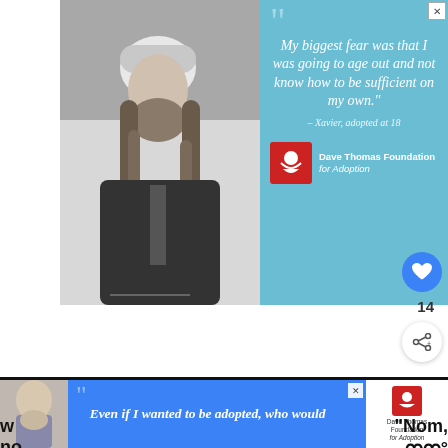[Figure (photo): Black and white photo of young man with long dreadlocks and beard wearing a beanie hat and jacket, looking upward]
[Figure (infographic): Blue advertisement panel for Dave Thomas Foundation for Adoption with quote from Xavier adopted at 18: 'My biggest fear was that I was going to age out and not know how to be sufficient on my own.' with foundation logo]
14
WHAT'S NEXT → #Win a $10 Walmart Gift...
Parry is an Emmy-winning singer-songwriter
[Figure (infographic): Bottom banner ad for Dave Thomas Foundation for Adoption with quote 'Even if I wanted to be adopted, who would' and photo of young woman]